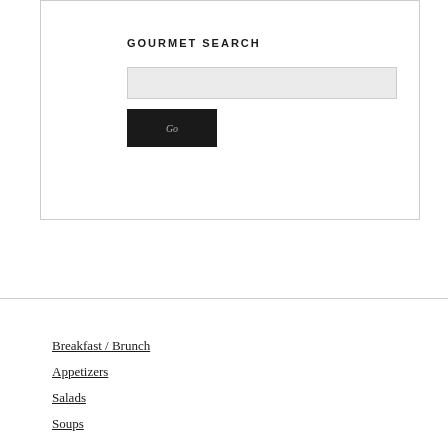GOURMET SEARCH
[Figure (screenshot): Search widget with text input field and Go button on light gray background inside a bordered box]
Breakfast / Brunch
Appetizers
Salads
Soups